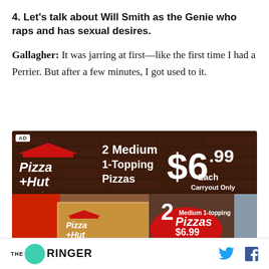4. Let's talk about Will Smith as the Genie who raps and has sexual desires.
Gallagher: It was jarring at first—like the first time I had a Perrier. But after a few minutes, I got used to it.
[Figure (photo): Pizza Hut advertisement showing '2 Medium 1-Topping Pizzas $6.99 Each Carryout Only' with Pizza Hut logo and pizza boxes being held by people]
THE RINGER [logo with Twitter and Facebook social icons]